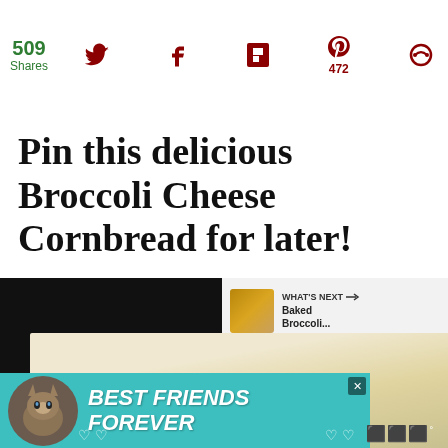509 Shares — social share bar with Twitter, Facebook, Flipboard, Pinterest (472), and another icon
Pin this delicious Broccoli Cheese Cornbread for later!
[Figure (screenshot): Bottom portion shows a food video thumbnail (cornbread dish) with a 'WHAT'S NEXT → Baked Broccoli...' overlay panel, and an advertisement banner reading 'BEST FRIENDS FOREVER' with a cat, overlaid on dark background.]